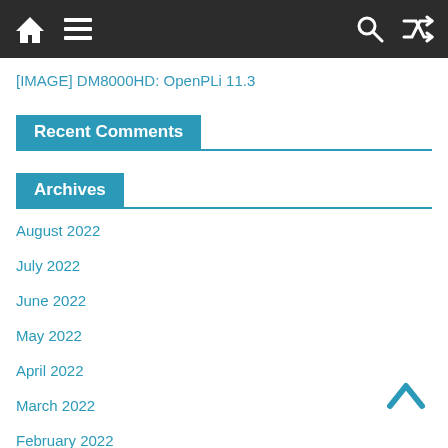[navigation bar with home, menu, search, shuffle icons]
[IMAGE] DM8000HD: OpenPLi 11.3
Recent Comments
Archives
August 2022
July 2022
June 2022
May 2022
April 2022
March 2022
February 2022